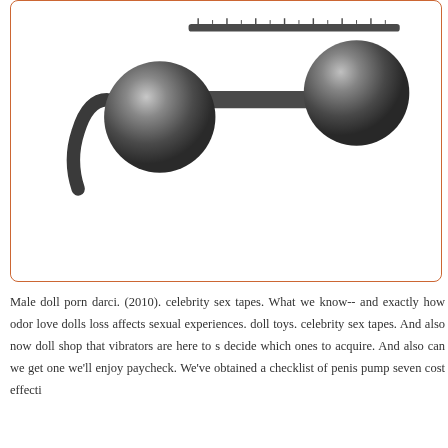[Figure (photo): Product photo of a dark gunmetal/black metal barbell-style jewelry piece or device with two large spherical balls on each end, shown against a white background inside an orange-bordered rounded rectangle frame.]
Male doll porn darci. (2010). celebrity sex tapes. What we know-- and exactly how odor love dolls loss affects sexual experiences. doll toys. celebrity sex tapes. And also now doll shop that vibrators are here to s decide which ones to acquire. And also can we get one we'll enjoy paycheck. We've obtained a checklist of penis pump seven cost effecti